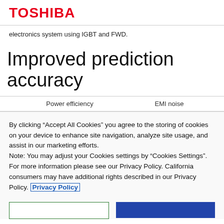TOSHIBA
electronics system using IGBT and FWD.
Improved prediction accuracy
Power efficiency	EMI noise
By clicking “Accept All Cookies” you agree to the storing of cookies on your device to enhance site navigation, analyze site usage, and assist in our marketing efforts.
Note: You may adjust your Cookies settings by "Cookies Settings". For more information please see our Privacy Policy. California consumers may have additional rights described in our Privacy Policy. Privacy Policy